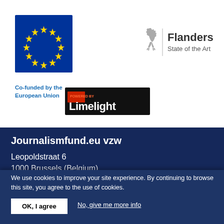[Figure (logo): European Union flag logo with circle of yellow stars on blue background]
Co-funded by the European Union
[Figure (logo): Flanders State of the Art logo with lion silhouette and text]
[Figure (logo): Limelight logo - white text on black background with red flame graphic]
Journalismfund.eu vzw
Leopoldstraat 6
1000 Brussels (Belgium)
We use cookies to improve your site experience. By continuing to browse this site, you agree to the use of cookies.
OK, I agree
No, give me more info